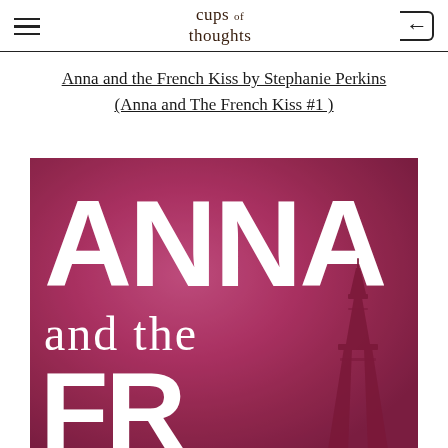cups of thoughts
Anna and the French Kiss by Stephanie Perkins (Anna and The French Kiss #1)
[Figure (photo): Book cover of 'Anna and the French Kiss' by Stephanie Perkins. Pink/magenta gradient background with large white text reading 'ANNA' at the top and 'and the' below in smaller serif font, with a silhouette of the Eiffel Tower on the right side.]